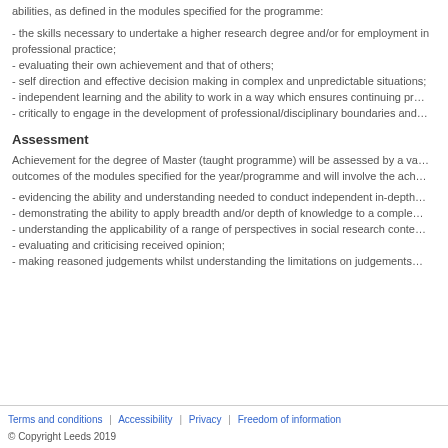abilities, as defined in the modules specified for the programme:
- the skills necessary to undertake a higher research degree and/or for employment in professional practice;
- evaluating their own achievement and that of others;
- self direction and effective decision making in complex and unpredictable situations;
- independent learning and the ability to work in a way which ensures continuing professional development;
- critically to engage in the development of professional/disciplinary boundaries and norms.
Assessment
Achievement for the degree of Master (taught programme) will be assessed by a variety of means linked to the learning outcomes of the modules specified for the year/programme and will involve the achievement of:
- evidencing the ability and understanding needed to conduct independent in-depth study;
- demonstrating the ability to apply breadth and/or depth of knowledge to a complex situation;
- understanding the applicability of a range of perspectives in social research contexts;
- evaluating and criticising received opinion;
- making reasoned judgements whilst understanding the limitations on judgements made;
Terms and conditions | Accessibility | Privacy | Freedom of information
© Copyright Leeds 2019